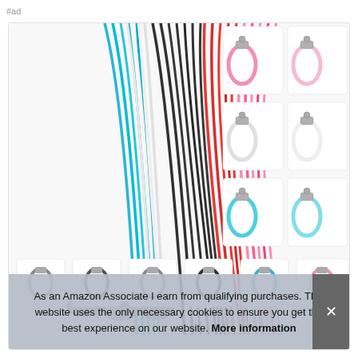#ad
[Figure (photo): Product photo showing colorful elastic hair ties/loops in blue, black, red, white, and pink colors bundled together on the left, with close-up inset images on the right showing pink, white, and light blue individual hair tie loops with silver metal tips]
As an Amazon Associate I earn from qualifying purchases. This website uses the only necessary cookies to ensure you get the best experience on our website. More information